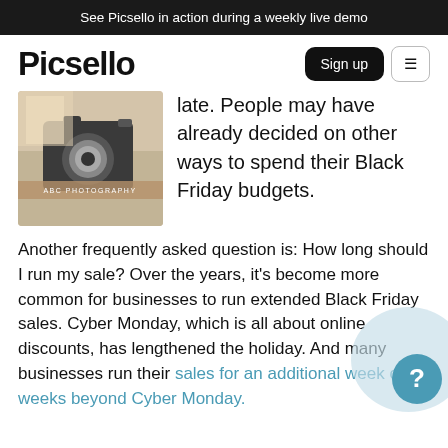See Picsello in action during a weekly live demo
Picsello
[Figure (photo): Photography branded image with camera and ABC Photography label]
late. People may have already decided on other ways to spend their Black Friday budgets.
Another frequently asked question is: How long should I run my sale? Over the years, it's become more common for businesses to run extended Black Friday sales. Cyber Monday, which is all about online discounts, has lengthened the holiday. And many businesses run their sales for an additional week or weeks beyond Cyber Monday.